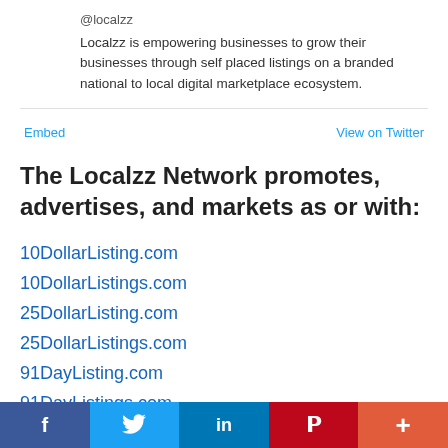@localzz
Localzz is empowering businesses to grow their businesses through self placed listings on a branded national to local digital marketplace ecosystem.
Embed
View on Twitter
The Localzz Network promotes, advertises, and markets as or with:
10DollarListing.com
10DollarListings.com
25DollarListing.com
25DollarListings.com
91DayListing.com
91DayListings.com
f  [twitter bird]  in  P  +